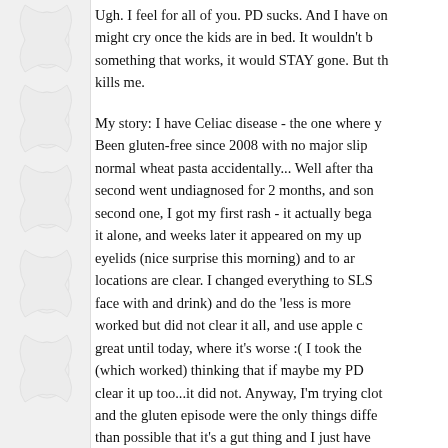Ugh. I feel for all of you. PD sucks. And I have on might cry once the kids are in bed. It wouldn't b something that works, it would STAY gone. But th kills me.
My story: I have Celiac disease - the one where y Been gluten-free since 2008 with no major slip normal wheat pasta accidentally... Well after tha second went undiagnosed for 2 months, and son second one, I got my first rash - it actually bega it alone, and weeks later it appeared on my up eyelids (nice surprise this morning) and to ar locations are clear. I changed everything to SLS face with and drink) and do the 'less is more worked but did not clear it all, and use apple great until today, where it's worse :( I took the (which worked) thinking that if maybe my PD clear it up too...it did not. Anyway, I'm trying clot and the gluten episode were the only things diffe than possible that it's a gut thing and I just have ...